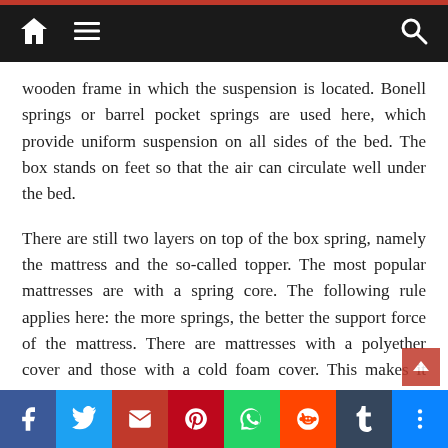Navigation bar with home, menu, and search icons
wooden frame in which the suspension is located. Bonell springs or barrel pocket springs are used here, which provide uniform suspension on all sides of the bed. The box stands on feet so that the air can circulate well under the bed.
There are still two layers on top of the box spring, namely the mattress and the so-called topper. The most popular mattresses are with a spring core. The following rule applies here: the more springs, the better the support force of the mattress. There are mattresses with a polyether cover and those with a cold foam cover. This makes it possible for the mattress to quickly return to its original shape. The elasticity always ensures a high level of comfort when lying and sleeping. At the very top there is a thin mattress called
Facebook Twitter Mail Pinterest WhatsApp Reddit Tumblr More